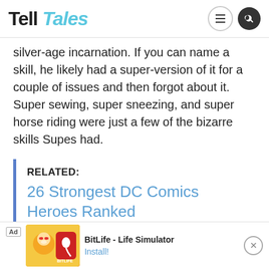Tell Tales
silver-age incarnation. If you can name a skill, he likely had a super-version of it for a couple of issues and then forgot about it. Super sewing, super sneezing, and super horse riding were just a few of the bizarre skills Supes had.
RELATED:
26 Strongest DC Comics Heroes Ranked
[Figure (screenshot): Advertisement banner for BitLife - Life Simulator app with install button]